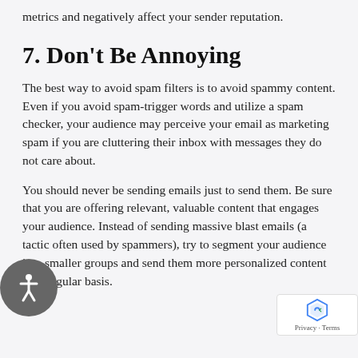metrics and negatively affect your sender reputation.
7. Don't Be Annoying
The best way to avoid spam filters is to avoid spammy content. Even if you avoid spam-trigger words and utilize a spam checker, your audience may perceive your email as marketing spam if you are cluttering their inbox with messages they do not care about.
You should never be sending emails just to send them. Be sure that you are offering relevant, valuable content that engages your audience. Instead of sending massive blast emails (a tactic often used by spammers), try to segment your audience into smaller groups and send them more personalized content on a regular basis.